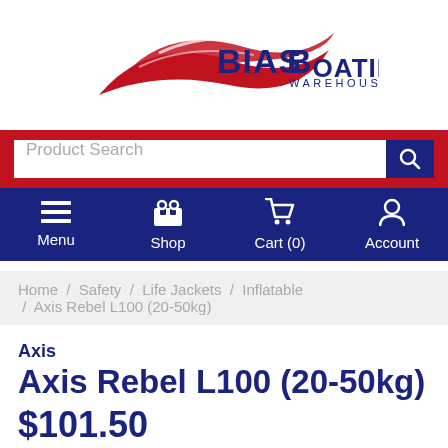[Figure (logo): Bias Boating Warehouse logo with red swoosh graphic and dark blue text]
Product Search
Menu  Shop  Cart (0)  Account
Home / Safety / Life Jackets / Inflatable / Axis Rebel L100 (20-50kg)
Axis
Axis Rebel L100 (20-50kg)
$101.50